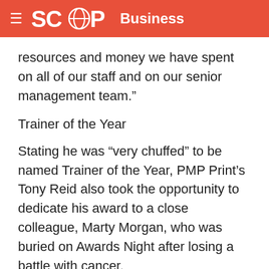SCOOP Business
resources and money we have spent on all of our staff and on our senior management team.”
Trainer of the Year
Stating he was “very chuffed” to be named Trainer of the Year, PMP Print’s Tony Reid also took the opportunity to dedicate his award to a close colleague, Marty Morgan, who was buried on Awards Night after losing a battle with cancer.
“All of the hard work I’ve put in throughout the last two years couldn’t have happened without him,” says Mr